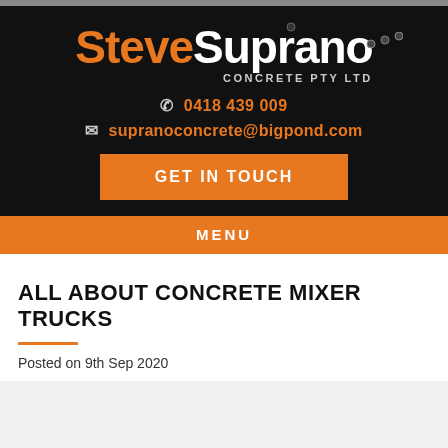[Figure (logo): Steve Soprano Concrete Pty Ltd logo with orange 'Steve' and white 'Soprano' text on black background, with bullet hole decorations]
0418 439 009
supranoconcrete@bigpond.com
GET IN TOUCH
MENU
ALL ABOUT CONCRETE MIXER TRUCKS
Posted on 9th Sep 2020